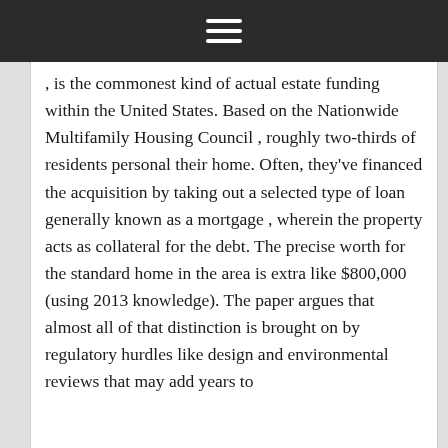≡
, is the commonest kind of actual estate funding within the United States. Based on the Nationwide Multifamily Housing Council , roughly two-thirds of residents personal their home. Often, they've financed the acquisition by taking out a selected type of loan generally known as a mortgage , wherein the property acts as collateral for the debt. The precise worth for the standard home in the area is extra like $800,000 (using 2013 knowledge). The paper argues that almost all of that distinction is brought on by regulatory hurdles like design and environmental reviews that may add years to